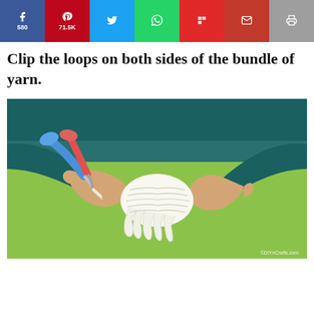[Figure (other): Social share bar with Facebook (580), Pinterest (71.5K), Twitter, WhatsApp, Flipboard, Email, and Print buttons]
Clip the loops on both sides of the bundle of yarn.
[Figure (photo): Photo of hands using blue scissors to clip loops on a bundle of white yarn against a bright green background. Watermark: ©DIYnCrafts.com]